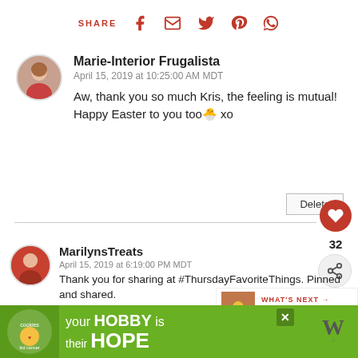[Figure (screenshot): Social share bar with Facebook, email, Twitter, Pinterest, and WhatsApp icons in red]
Marie-Interior Frugalista
April 15, 2019 at 10:25:00 AM MDT
Aw, thank you so much Kris, the feeling is mutual! Happy Easter to you too💐 xo
Delete
32
MarilynsTreats
April 15, 2019 at 6:19:00 PM MDT
Thank you for sharing at #ThursdayFavoriteThings. Pinned and shared.
WHAT'S NEXT → Bright And Whimsical...
[Figure (infographic): Cookies for Kid Cancer charity advertisement banner: green background with 'your HOBBY is their HOPE' text]